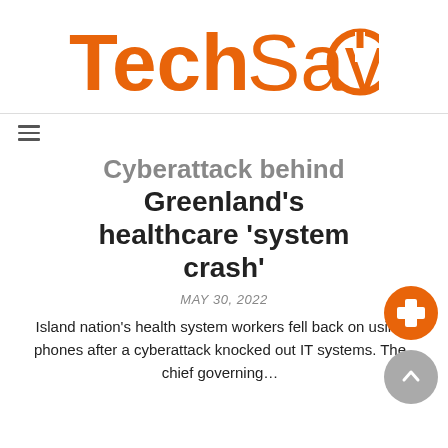[Figure (logo): Tech Savvo logo with orange bold text and power button icon replacing the O in Savvo]
Cyberattack behind Greenland’s healthcare ‘system crash’
MAY 30, 2022
Island nation’s health system workers fell back on using phones after a cyberattack knocked out IT systems. The chief governing…